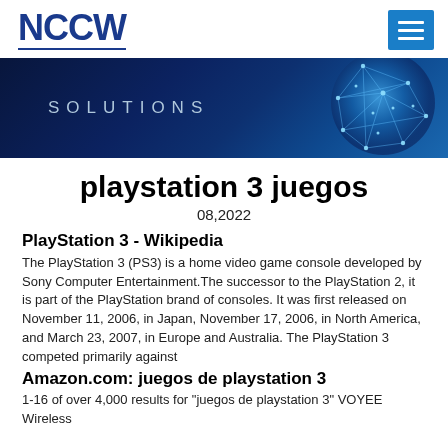NCCW
[Figure (screenshot): NCCW website banner with globe graphic and SOLUTIONS text on dark blue background]
playstation 3 juegos
08,2022
PlayStation 3 - Wikipedia
The PlayStation 3 (PS3) is a home video game console developed by Sony Computer Entertainment.The successor to the PlayStation 2, it is part of the PlayStation brand of consoles. It was first released on November 11, 2006, in Japan, November 17, 2006, in North America, and March 23, 2007, in Europe and Australia. The PlayStation 3 competed primarily against
Amazon.com: juegos de playstation 3
1-16 of over 4,000 results for "juegos de playstation 3" VOYEE Wireless